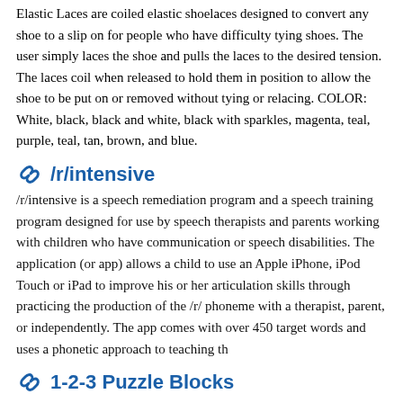Elastic Laces are coiled elastic shoelaces designed to convert any shoe to a slip on for people who have difficulty tying shoes. The user simply laces the shoe and pulls the laces to the desired tension. The laces coil when released to hold them in position to allow the shoe to be put on or removed without tying or relacing. COLOR: White, black, black and white, black with sparkles, magenta, teal, purple, teal, tan, brown, and blue.
/r/intensive
/r/intensive is a speech remediation program and a speech training program designed for use by speech therapists and parents working with children who have communication or speech disabilities. The application (or app) allows a child to use an Apple iPhone, iPod Touch or iPad to improve his or her articulation skills through practicing the production of the /r/ phoneme with a therapist, parent, or independently. The app comes with over 450 target words and uses a phonetic approach to teaching th
1-2-3 Puzzle Blocks
The 1-2-3 Puzzle Blocks are puzzles with large peieces designed